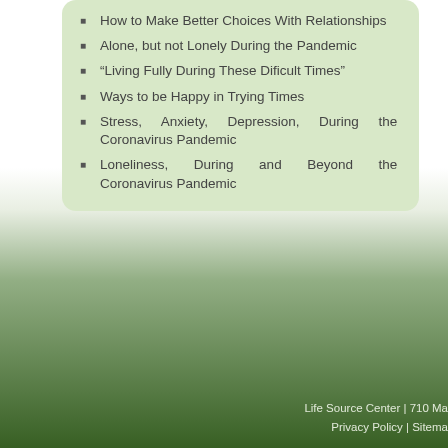How to Make Better Choices With Relationships
Alone, but not Lonely During the Pandemic
“Living Fully During These Dificult Times”
Ways to be Happy in Trying Times
Stress, Anxiety, Depression, During the Coronavirus Pandemic
Loneliness, During and Beyond the Coronavirus Pandemic
Life Source Center | 710 Ma
Privacy Policy | Sitema...